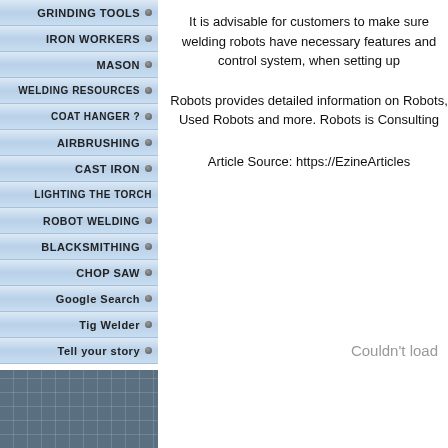GRINDING TOOLS
IRON WORKERS
MASON
WELDING RESOURCES
COAT HANGER ?
AIRBRUSHING
CAST IRON
LIGHTING THE TORCH
ROBOT WELDING
BLACKSMITHING
CHOP SAW
Google Search
Tig Welder
Tell your story
It is advisable for customers to make sure welding robots have necessary features and control system, when setting up
Robots provides detailed information on Robots, Used Robots and more. Robots is Consulting
Article Source: https://EzineArticles
Couldn't load